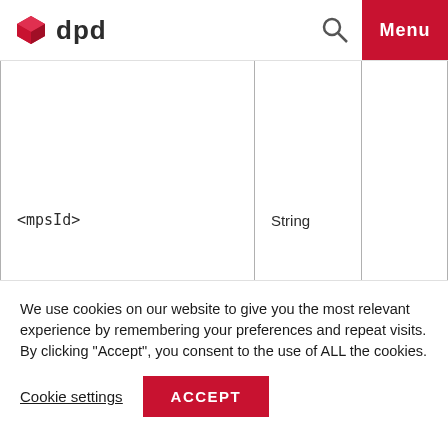dpd | Menu
|  |  |  |
| --- | --- | --- |
| <mpsId> | String |  |
We use cookies on our website to give you the most relevant experience by remembering your preferences and repeat visits. By clicking "Accept", you consent to the use of ALL the cookies.
Cookie settings  ACCEPT